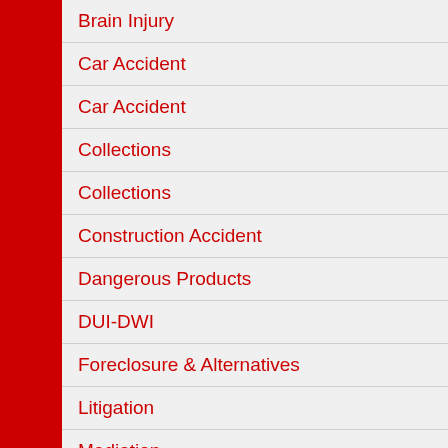Brain Injury
Car Accident
Car Accident
Collections
Collections
Construction Accident
Dangerous Products
DUI-DWI
Foreclosure & Alternatives
Litigation
Mediation
Medical Malpractice
Medical Malpractice